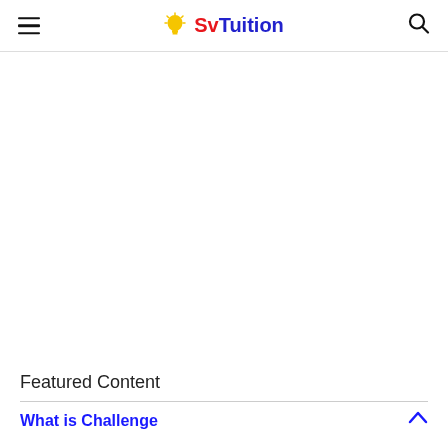SvTuition
Featured Content
What is Challenge